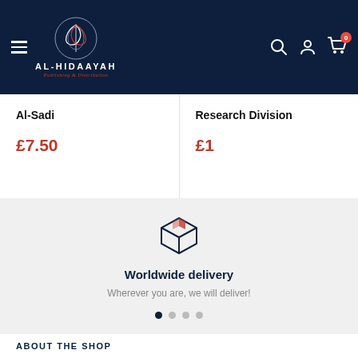[Figure (logo): Al-Hidaayah Publishing & Distribution logo with Arabic calligraphy emblem on dark navy header]
Al-Sadi
£7.50
Research Division
£1
[Figure (illustration): Box/package icon representing worldwide delivery]
Worldwide delivery
Wherever you are, we will deliver!
ABOUT THE SHOP